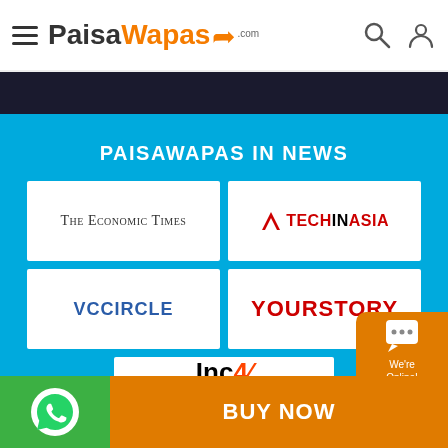PaisaWapas.com
PAISAWAPAS IN NEWS
[Figure (logo): The Economic Times logo]
[Figure (logo): TechInAsia logo]
[Figure (logo): VCCircle logo]
[Figure (logo): YourStory logo]
[Figure (logo): Inc42 logo]
BUY NOW
We're Online!